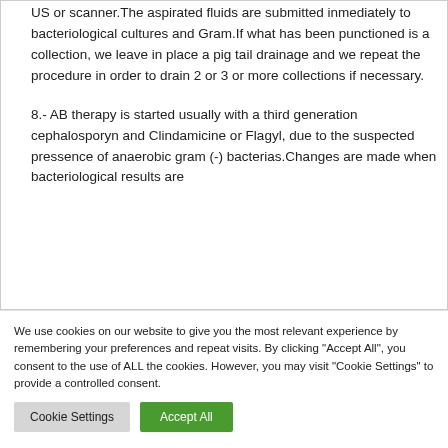US or scanner.The aspirated fluids are submitted inmediately to bacteriological cultures and Gram.If what has been punctioned is a collection, we leave in place a pig tail drainage and we repeat the procedure in order to drain 2 or 3 or more collections if necessary.
8.- AB therapy is started usually with a third generation cephalosporyn and Clindamicine or Flagyl, due to the suspected pressence of anaerobic gram (-) bacterias.Changes are made when bacteriological results are
We use cookies on our website to give you the most relevant experience by remembering your preferences and repeat visits. By clicking "Accept All", you consent to the use of ALL the cookies. However, you may visit "Cookie Settings" to provide a controlled consent.